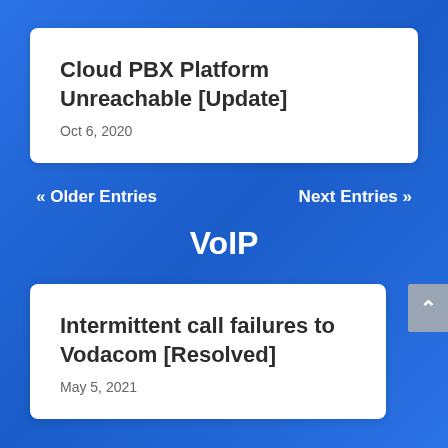Cloud PBX Platform Unreachable [Update]
Oct 6, 2020
« Older Entries
Next Entries »
VoIP
Intermittent call failures to Vodacom [Resolved]
May 5, 2021